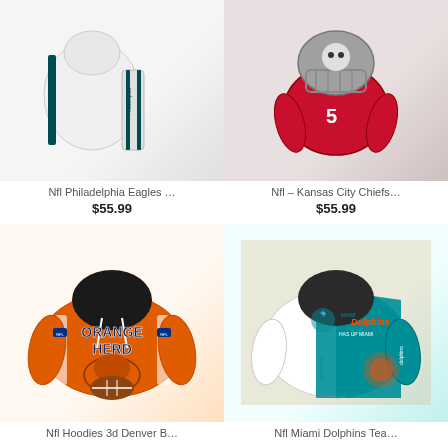[Figure (photo): NFL Philadelphia Eagles hoodie and pants set, white with teal accents]
Nfl Philadelphia Eagles …
$55.99
[Figure (photo): NFL Kansas City Chiefs mascot cartoon figure in red uniform]
Nfl – Kansas City Chiefs…
$55.99
[Figure (photo): NFL Hoodies 3D Denver Broncos orange hoodie with ORANGE HERD text and football graphic]
Nfl Hoodies 3d Denver B…
[Figure (photo): NFL Miami Dolphins Team hoodie in white and teal with Dolphins branding]
Nfl Miami Dolphins Tea…